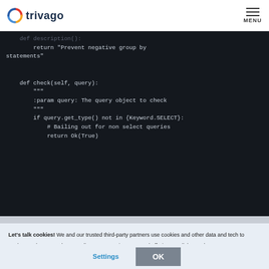trivago MENU
[Figure (screenshot): Dark-themed code editor screenshot showing Python code with a partial def description() method returning a string, and a def check(self, query) method with docstring and conditional logic]
Let's talk cookies! We and our trusted third-party partners use cookies and other data and tech to analyze, enhance, and personalize your experience on and off trivago. Click anywhere or "OK" to consent and continue enjoying trivago. Manage your data in your cookie settings.
Settings   OK